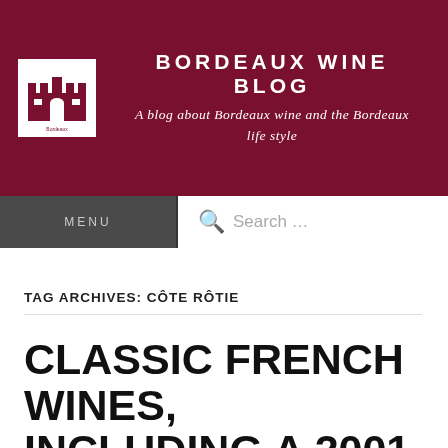BORDEAUX WINE BLOG
A blog about Bordeaux wine and the Bordeaux life style
MENU
Search …
TAG ARCHIVES: CÔTE RÔTIE
CLASSIC FRENCH WINES, INCLUDING A 2001 CH. LA CONSEILLANTE